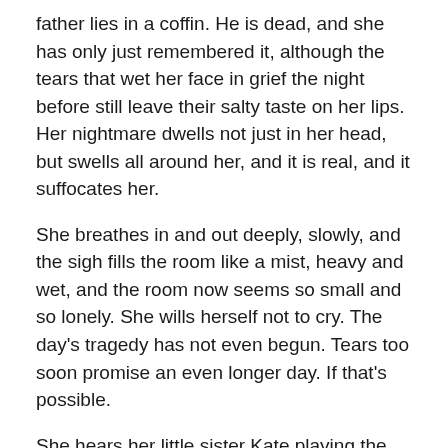father lies in a coffin. He is dead, and she has only just remembered it, although the tears that wet her face in grief the night before still leave their salty taste on her lips. Her nightmare dwells not just in her head, but swells all around her, and it is real, and it suffocates her.
She breathes in and out deeply, slowly, and the sigh fills the room like a mist, heavy and wet, and the room now seems so small and so lonely. She wills herself not to cry. The day's tragedy has not even begun. Tears too soon promise an even longer day. If that's possible.
She hears her little sister Kate playing the flute in the room next to hers. Sweet, high loveliness, notes floating on a breeze, cascading to a low, holding, skipping back up the scale and leveling off to one perfect note, held just a second short of too long but not a second long of